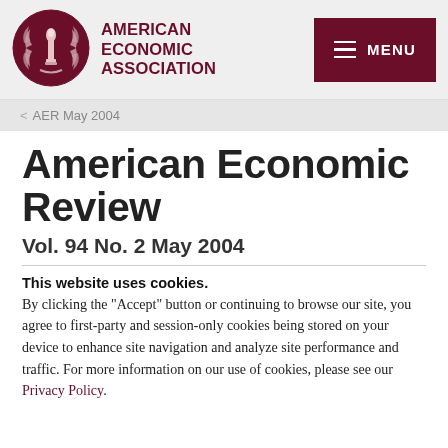[Figure (logo): American Economic Association circular logo with wreath and torch emblem, dark red/maroon color]
AMERICAN ECONOMIC ASSOCIATION
MENU
< AER May 2004
American Economic Review
Vol. 94 No. 2 May 2004
This website uses cookies.
By clicking the "Accept" button or continuing to browse our site, you agree to first-party and session-only cookies being stored on your device to enhance site navigation and analyze site performance and traffic. For more information on our use of cookies, please see our Privacy Policy.